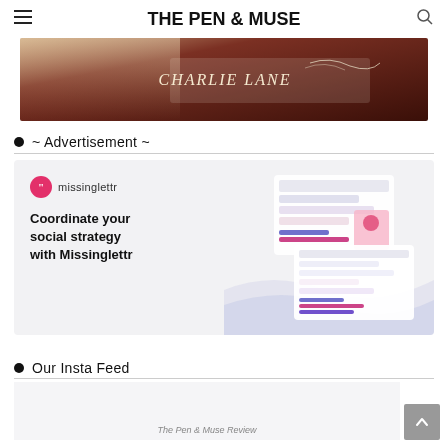THE PEN & MUSE
[Figure (photo): Book cover photo showing 'Charlie Lane' text on dark red/maroon background with cursive script]
~ Advertisement ~
[Figure (screenshot): Missinglettr advertisement banner with logo and text 'Coordinate your social strategy with Missinglettr' alongside dashboard mockup screenshots]
Our Insta Feed
[Figure (screenshot): Instagram feed section showing bottom of page with 'The Pen & Muse Review' text visible]